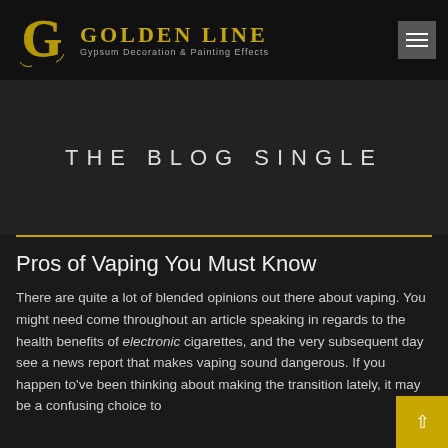[Figure (logo): Golden Line logo with golden G emblem and text 'GOLDEN LINE' with subtitle 'Gypsum Decoration & Painting Effects' on black background]
THE BLOG SINGLE
Pros of Vaping You Must Know
There are quite a lot of blended opinions out there about vaping. You might need come throughout an article speaking in regards to the health benefits of electronic cigarettes, and the very subsequent day see a news report that makes vaping sound dangerous. If you happen to've been thinking about making the transition lately, it may be a confusing choice to